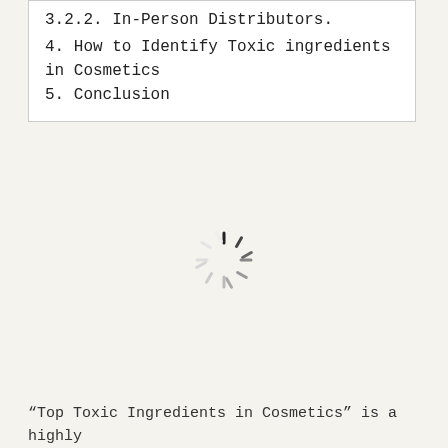3.2.2. In-Person Distributors.
4. How to Identify Toxic ingredients in Cosmetics
5. Conclusion
[Figure (other): Loading spinner / activity indicator graphic — a circular arrangement of short dashes fading from black to light gray, indicating a loading state.]
“Top Toxic Ingredients in Cosmetics” is a highly